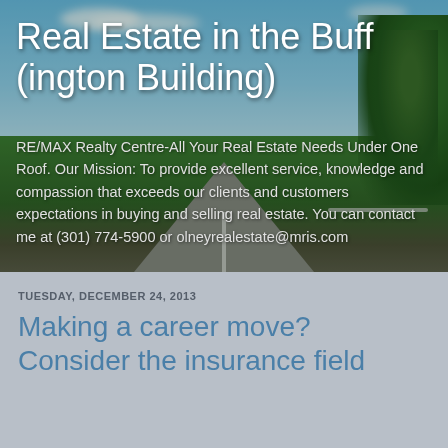[Figure (photo): Background photo of a road with trees and blue sky, used as hero banner background]
Real Estate in the Buff (ington Building)
RE/MAX Realty Centre-All Your Real Estate Needs Under One Roof. Our Mission: To provide excellent service, knowledge and compassion that exceeds our clients and customers expectations in buying and selling real estate. You can contact me at (301) 774-5900 or olneyrealestate@mris.com
TUESDAY, DECEMBER 24, 2013
Making a career move? Consider the insurance field